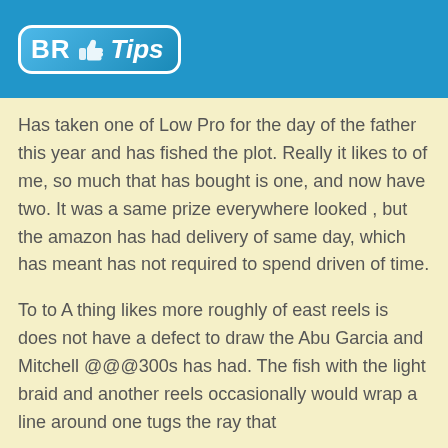BR Tips
Has taken one of Low Pro for the day of the father this year and has fished the plot. Really it likes to of me, so much that has bought is one, and now have two. It was a same prize everywhere looked , but the amazon has had delivery of same day, which has meant has not required to spend driven of time.
To to A thing likes more roughly of east reels is does not have a defect to draw the Abu Garcia and Mitchell @@@300s has had. The fish with the light braid and another reels occasionally would wrap a line around one tugs the ray that